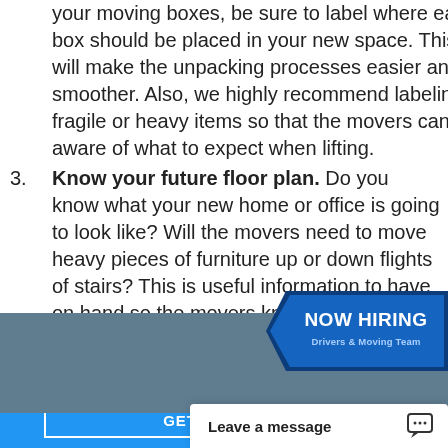your moving boxes, be sure to label where each box should be placed in your new space. This will make the unpacking processes easier and smoother. Also, we highly recommend labeling fragile or heavy items so that the movers can be aware of what to expect when lifting.
3. Know your future floor plan. Do you know what your new home or office is going to look like? Will the movers need to move heavy pieces of furniture up or down flights of stairs? This is useful information to have on hand so the movers know what to prepare for and what equipment to expect to bring.
[Figure (other): NOW HIRING badge - Drivers & Moving Team, blue chevron/arrow shape]
[Figure (other): Blue-gray banner image section]
GET A FREE ESTIMATE TODAY!
GET ESTIMATE
Leave a message